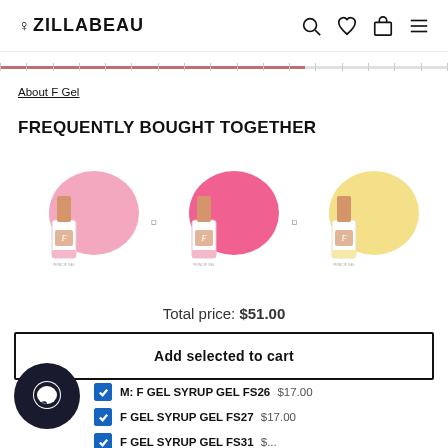ZILLABEAU
About F Gel
FREQUENTLY BOUGHT TOGETHER
[Figure (photo): Three F Gel nail polish bottles with color swatches: pink (FS26), hot pink (FS27), and cream/yellow (FS31), separated by plus signs]
Total price: $51.00
Add selected to cart
IM: F GEL SYRUP GEL FS26  $17.00
F GEL SYRUP GEL FS27  $17.00
F GEL SYRUP GEL FS31  $...